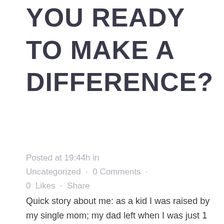YOU READY TO MAKE A DIFFERENCE?
Posted at 19:44h in Uncategorized · 0 Comments · 0 Likes · Share
Quick story about me: as a kid I was raised by my single mom; my dad left when I was just 1 year old. I remember coming home from school and when my mom finally arrived home from work, she would land on the couch